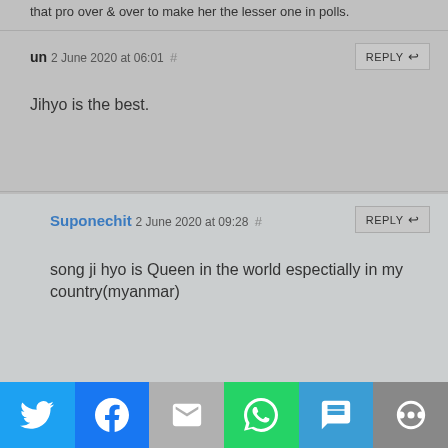that pro over & over to make her the lesser one in polls.
un 2 June 2020 at 06:01 #
Jihyo is the best.
Suponechit 2 June 2020 at 09:28 #
song ji hyo is Queen in the world espectially in my country(myanmar)
We use cookies on our website to give you the most relevant experience by remembering your preferences and repeat visits. By clicking "Accept All", you consent to the use of ALL the cookies. However, you may visit "Cookie Settings" to provide a controlled consent.